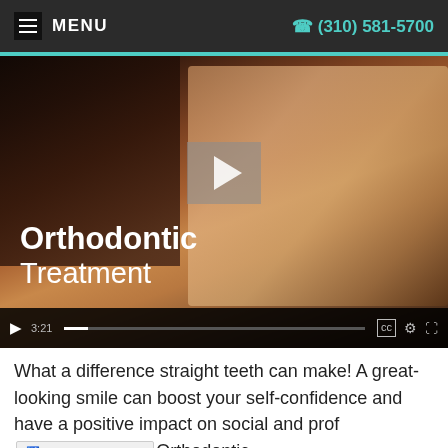MENU   (310) 581-5700
[Figure (screenshot): Video thumbnail showing a smiling young girl with long blonde hair, with a play button overlay and 'Orthodontic Treatment' text in the lower left. Video controls bar at bottom shows 3:21 duration.]
What a difference straight teeth can make! A great-looking smile can boost your self-confidence and have a positive impact on social and professional... Orthodontic